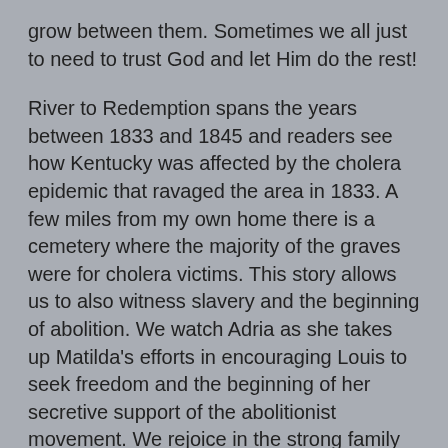grow between them. Sometimes we all just to need to trust God and let Him do the rest!
River to Redemption spans the years between 1833 and 1845 and readers see how Kentucky was affected by the cholera epidemic that ravaged the area in 1833. A few miles from my own home there is a cemetery where the majority of the graves were for cholera victims. This story allows us to also witness slavery and the beginning of abolition. We watch Adria as she takes up Matilda's efforts in encouraging Louis to seek freedom and the beginning of her secretive support of the abolitionist movement. We rejoice in the strong family unit that was the result of Louis's rescue of seven year old Adria Starr and his wise decision to seek Ruth Harmon's help. And when we read the Author's Note we can feel pride in the citizens of Springfield, Kentucky and their efforts to  purchase the real Louis's freedom from slavery.
This book has tragedy and loss but it is also  filled with love, faith, hope and the reminder that families are not always created by birth. I  appreciate the many references to Bible